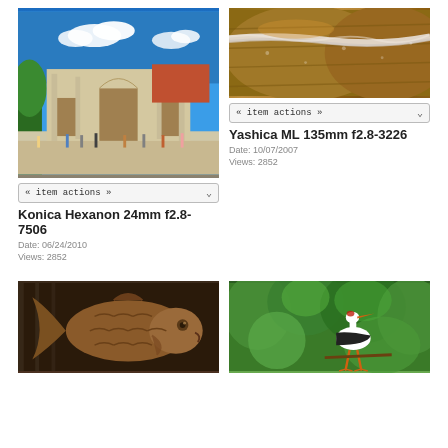[Figure (photo): Photograph of a historic castle/palace gate with ornate stone architecture, blue sky with white clouds, green trees, tourists in foreground]
« item actions »
Konica Hexanon 24mm f2.8-7506
Date: 06/24/2010
Views: 2852
[Figure (photo): Close-up macro photograph of wooden barrels wrapped with rope, brown texture, rustic]
« item actions »
Yashica ML 135mm f2.8-3226
Date: 10/07/2007
Views: 2852
[Figure (photo): Carved wooden fish sculpture, brown/russet tones, decorative fins and scales]
[Figure (photo): White stork bird standing among green foliage/trees in background]